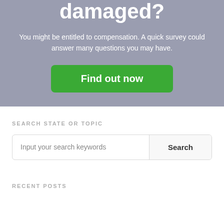damaged?
You might be entitled to compensation. A quick survey could answer many questions you may have.
Find out now
SEARCH STATE OR TOPIC
Input your search keywords
Search
RECENT POSTS